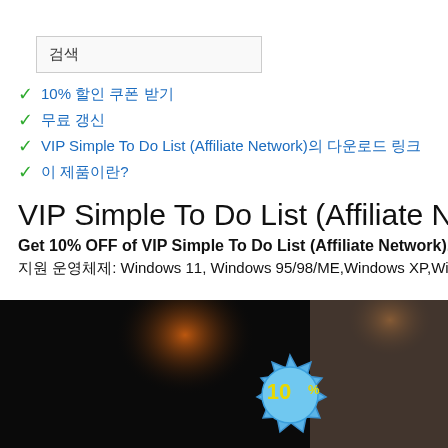검색
10% 할인 쿠폰 받기
무료 갱신
VIP Simple To Do List (Affiliate Network)의 다운로드 링크
이 제품이란?
VIP Simple To Do List (Affiliate Network)의
Get 10% OFF of VIP Simple To Do List (Affiliate Network),
지원 운영체제: Windows 11, Windows 95/98/ME,Windows XP,Windows
[Figure (photo): Dark background promotional image with an orange bokeh light effect on the left, a blue starburst badge showing '10%' in yellow text in the center, and a partial view of a woman on the right side with warm background lighting.]